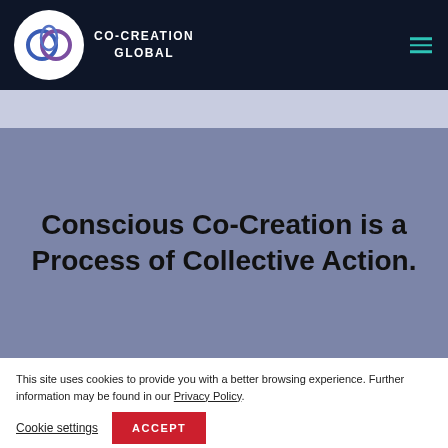CO-CREATION GLOBAL
Conscious Co-Creation is a Process of Collective Action.
This site uses cookies to provide you with a better browsing experience. Further information may be found in our Privacy Policy.
Cookie settings  ACCEPT